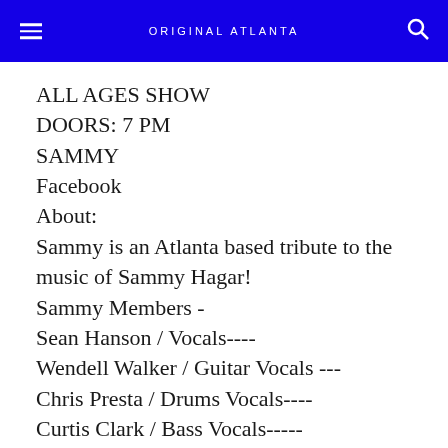ORIGINAL ATLANTA
ALL AGES SHOW
DOORS: 7 PM
SAMMY
Facebook
About:
Sammy is an Atlanta based tribute to the music of Sammy Hagar!
Sammy Members -
Sean Hanson / Vocals----
Wendell Walker / Guitar Vocals ---
Chris Presta / Drums Vocals----
Curtis Clark / Bass Vocals-----